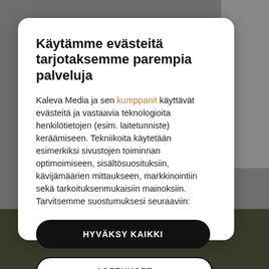Käytämme evästeitä tarjotaksemme parempia palveluja
Kaleva Media ja sen kumppanit käyttävät evästeitä ja vastaavia teknologioita henkilötietojen (esim. laitetunniste) keräämiseen. Tekniikoita käytetään esimerkiksi sivustojen toiminnan optimoimiseen, sisältösuosituksiin, kävijämäärien mittaukseen, markkinointiin sekä tarkoituksenmukaisiin mainoksiin. Tarvitsemme suostumuksesi seuraaviin:
HYVÄKSY KAIKKI
ASETUKSET